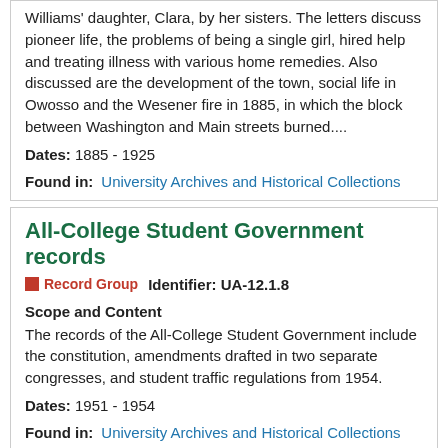Williams' daughter, Clara, by her sisters. The letters discuss pioneer life, the problems of being a single girl, hired help and treating illness with various home remedies. Also discussed are the development of the town, social life in Owosso and the Wesener fire in 1885, in which the block between Washington and Main streets burned....
Dates: 1885 - 1925
Found in: University Archives and Historical Collections
All-College Student Government records
Record Group   Identifier: UA-12.1.8
Scope and Content
The records of the All-College Student Government include the constitution, amendments drafted in two separate congresses, and student traffic regulations from 1954.
Dates: 1951 - 1954
Found in: University Archives and Historical Collections
Allcott family papers